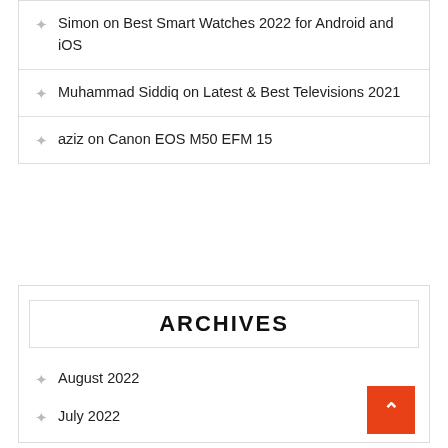Simon on Best Smart Watches 2022 for Android and iOS
Muhammad Siddiq on Latest & Best Televisions 2021
aziz on Canon EOS M50 EFM 15
ARCHIVES
August 2022
July 2022